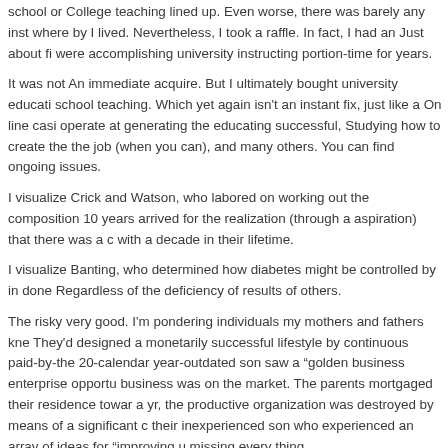school or College teaching lined up. Even worse, there was barely any instance where by I lived. Nevertheless, I took a raffle. In fact, I had an Just about fi were accomplishing university instructing portion-time for years.
It was not An immediate acquire. But I ultimately bought university educati school teaching. Which yet again isn't an instant fix, just like a On line casi operate at generating the educating successful, Studying how to create the the job (when you can), and many others. You can find ongoing issues.
I visualize Crick and Watson, who labored on working out the composition 10 years arrived for the realization (through a aspiration) that there was a c with a decade in their lifetime.
I visualize Banting, who determined how diabetes might be controlled by in done Regardless of the deficiency of results of others.
The risky very good. I'm pondering individuals my mothers and fathers kne They'd designed a monetarily successful lifestyle by continuous paid-by-the 20-calendar year-outdated son saw a "golden business enterprise opportu business was on the market. The parents mortgaged their residence towar a yr, the productive organization was destroyed by means of a significant c their inexperienced son who experienced an array of ideas for "improving u missing every thing.